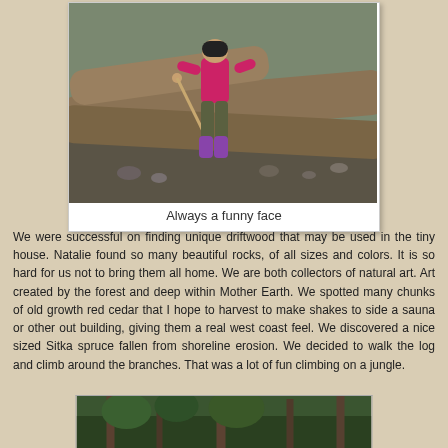[Figure (photo): Child in pink jacket and purple boots standing among large driftwood logs on a rocky beach, making a funny face]
Always a funny face
We were successful on finding unique driftwood that may be used in the tiny house. Natalie found so many beautiful rocks, of all sizes and colors. It is so hard for us not to bring them all home. We are both collectors of natural art. Art created by the forest and deep within Mother Earth. We spotted many chunks of old growth red cedar that I hope to harvest to make shakes to side a sauna or other out building, giving them a real west coast feel. We discovered a nice sized Sitka spruce fallen from shoreline erosion. We decided to walk the log and climb around the branches. That was a lot of fun climbing on a jungle.
[Figure (photo): Partially visible photo at bottom of page showing people among trees or forest]